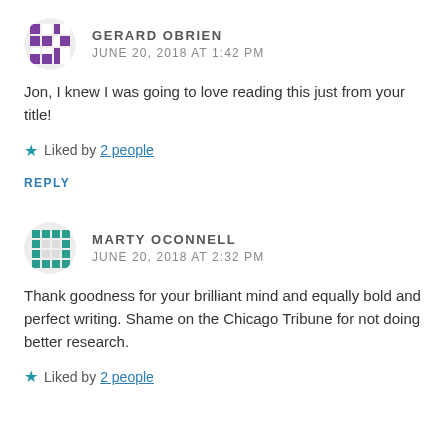GERARD OBRIEN
JUNE 20, 2018 AT 1:42 PM
Jon, I knew I was going to love reading this just from your title!
★ Liked by 2 people
REPLY
MARTY OCONNELL
JUNE 20, 2018 AT 2:32 PM
Thank goodness for your brilliant mind and equally bold and perfect writing. Shame on the Chicago Tribune for not doing better research.
★ Liked by 2 people